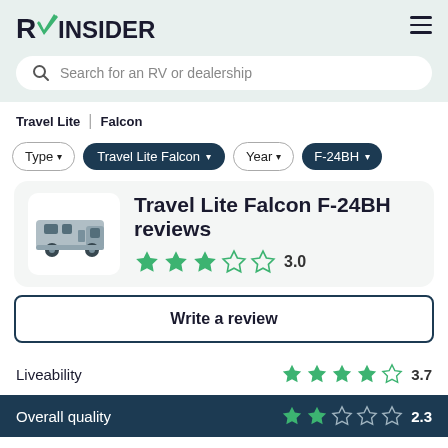[Figure (logo): RV Insider logo with green checkmark]
Search for an RV or dealership
Travel Lite | Falcon
Type ▾  Travel Lite Falcon ▾  Year ▾  F-24BH ▾
Travel Lite Falcon F-24BH reviews
3.0 (3 stars out of 5)
Write a review
Liveability  3.7
Overall quality  2.3